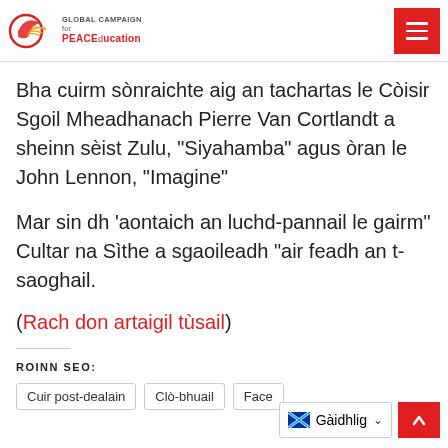Global Campaign for PEACEducation [logo header]
Bha cuirm sònraichte aig an tachartas le Còisir Sgoil Mheadhanach Pierre Van Cortlandt a sheinn sèist Zulu, “Siyahamba” agus òran le John Lennon, “Imagine”
Mar sin dh’aontaich an luchd-pannail le gairm” Cultar na Sìthe a sgaoileadh “air feadh an t-saoghail.
(Rach don artaigil tùsail)
ROINN SEO:
Cuir post-dealain
Clò-bhuail
Face...
Gàidhlig